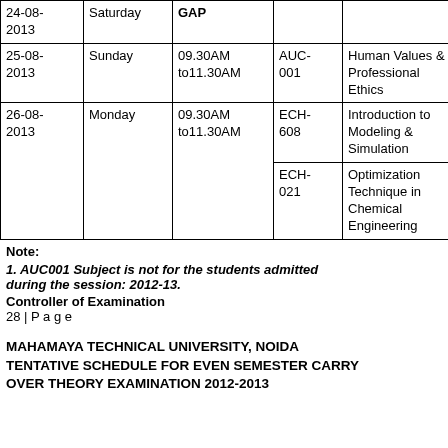| Date | Day | Time | Code | Subject |
| --- | --- | --- | --- | --- |
| 24-08-2013 | Saturday | GAP |  |  |
| 25-08-2013 | Sunday | 09.30AM to11.30AM | AUC-001 | Human Values & Professional Ethics |
| 26-08-2013 | Monday | 09.30AM to11.30AM | ECH-608 | Introduction to Modeling & Simulation |
|  |  |  | ECH-021 | Optimization Technique in Chemical Engineering |
Note:
1. AUC001 Subject is not for the students admitted during the session: 2012-13.
Controller of Examination
28 | P a g e
MAHAMAYA TECHNICAL UNIVERSITY, NOIDA TENTATIVE SCHEDULE FOR EVEN SEMESTER CARRY OVER THEORY EXAMINATION 2012-2013